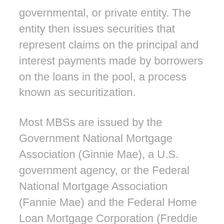governmental, or private entity. The entity then issues securities that represent claims on the principal and interest payments made by borrowers on the loans in the pool, a process known as securitization.
Most MBSs are issued by the Government National Mortgage Association (Ginnie Mae), a U.S. government agency, or the Federal National Mortgage Association (Fannie Mae) and the Federal Home Loan Mortgage Corporation (Freddie Mac), U.S. government-sponsored enterprises. Ginnie Mae, backed by the full faith and credit of the U.S. government, guarantees that investors receive timely